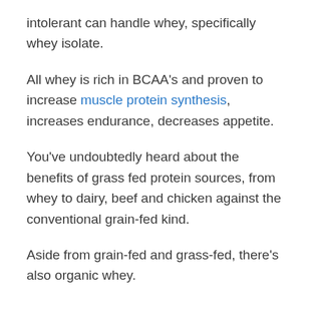intolerant can handle whey, specifically whey isolate.
All whey is rich in BCAA's and proven to increase muscle protein synthesis, increases endurance, decreases appetite.
You've undoubtedly heard about the benefits of grass fed protein sources, from whey to dairy, beef and chicken against the conventional grain-fed kind.
Aside from grain-fed and grass-fed, there's also organic whey.